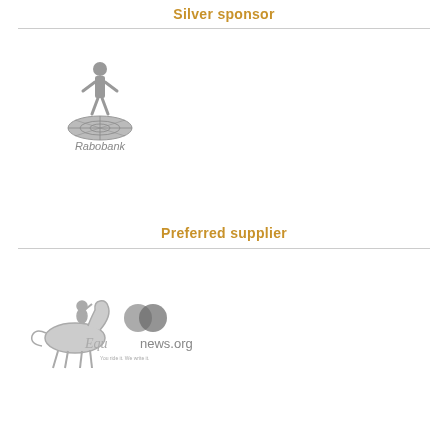Silver sponsor
[Figure (logo): Rabobank logo with figure standing on globe/compass disc, grey tones, with 'Rabobank' text below]
Preferred supplier
[Figure (logo): Equinews.org logo with horse-rider silhouette and 'Equ news.org You ride it. We write it.' text in grey]